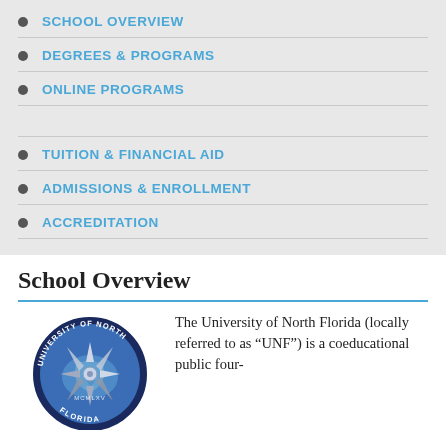SCHOOL OVERVIEW
DEGREES & PROGRAMS
ONLINE PROGRAMS
TUITION & FINANCIAL AID
ADMISSIONS & ENROLLMENT
ACCREDITATION
School Overview
[Figure (logo): University of North Florida circular seal/logo with compass rose and MCMLXV text]
The University of North Florida (locally referred to as “UNF”) is a coeducational public four-